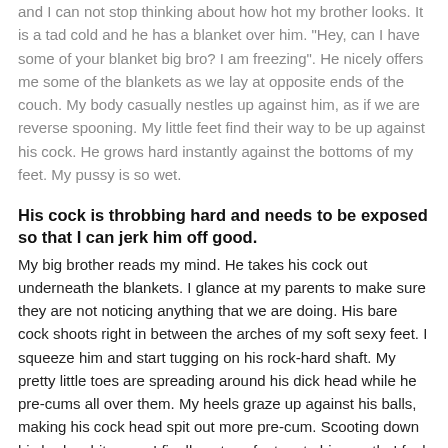and I can not stop thinking about how hot my brother looks. It is a tad cold and he has a blanket over him. "Hey, can I have some of your blanket big bro? I am freezing". He nicely offers me some of the blankets as we lay at opposite ends of the couch. My body casually nestles up against him, as if we are reverse spooning. My little feet find their way to be up against his cock. He grows hard instantly against the bottoms of my feet. My pussy is so wet.
His cock is throbbing hard and needs to be exposed so that I can jerk him off good.
My big brother reads my mind. He takes his cock out underneath the blankets. I glance at my parents to make sure they are not noticing anything that we are doing. His bare cock shoots right in between the arches of my soft sexy feet. I squeeze him and start tugging on his rock-hard shaft. My pretty little toes are spreading around his dick head while he pre-cums all over them. My heels graze up against his balls, making his cock head spit out more pre-cum. Scooting down his body a bit more, I finally get my foot up to his mouth. I feel him breathing on my toes. I want and need him to suck on my little piggies. He needs to clean up the mess he is making all over my feet. As he pulls my toes into his mouth, my pussy gushes.
My brother's long fingers dance around the outside of